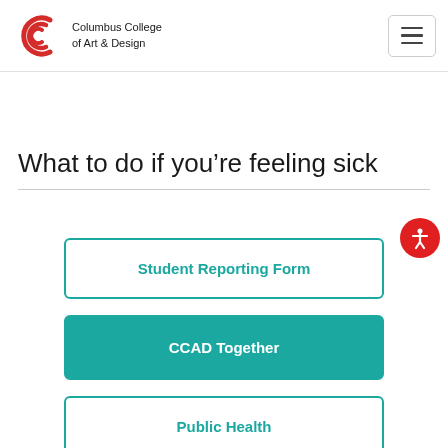Columbus College of Art & Design
What to do if you're feeling sick
Student Reporting Form
CCAD Together
Public Health